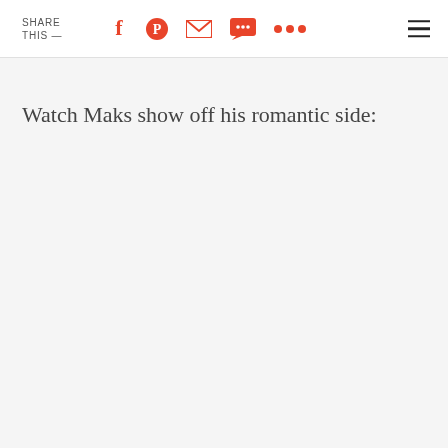SHARE THIS —
Watch Maks show off his romantic side: